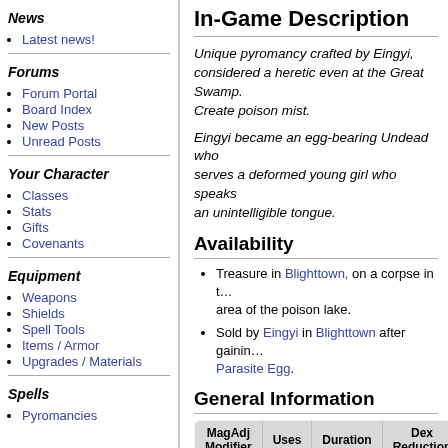News
Latest news!
Forums
Forum Portal
Board Index
New Posts
Unread Posts
Your Character
Classes
Stats
Gifts
Covenants
Equipment
Weapons
Shields
Spell Tools
Items / Armor
Upgrades / Materials
Spells
Pyromancies
In-Game Description
Unique pyromancy crafted by Eingyi, considered a heretic even at the Great Swamp. Create poison mist.
Eingyi became an egg-bearing Undead who serves a deformed young girl who speaks an unintelligible tongue.
Availability
Treasure in Blighttown, on a corpse in the area of the poison lake.
Sold by Eingyi in Blighttown after gaining Parasite Egg.
General Information
| MagAdj Modifier | Uses | Duration | Dex Reduction |
| --- | --- | --- | --- |
| 0/0/0/0 | 3 | 6 seconds | 0 frames |
Creates a mist that applies poison buildup, spreads from 1 to 3 ingame units within
The poison's HP loss rate is 3 HP/sec
With the exception of buildup rate and